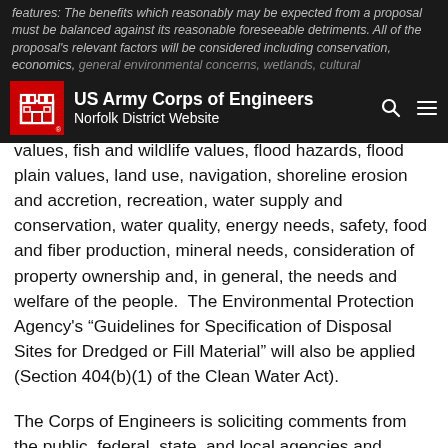US Army Corps of Engineers Norfolk District Website
values, fish and wildlife values, flood hazards, flood plain values, land use, navigation, shoreline erosion and accretion, recreation, water supply and conservation, water quality, energy needs, safety, food and fiber production, mineral needs, consideration of property ownership and, in general, the needs and welfare of the people.  The Environmental Protection Agency's "Guidelines for Specification of Disposal Sites for Dredged or Fill Material" will also be applied (Section 404(b)(1) of the Clean Water Act).
The Corps of Engineers is soliciting comments from the public, federal, state, and local agencies and officials; Indian Tribes; and other interested parties in order to consider and evaluate the direct, indirect, and cumulative impacts of this proposed activity.  Any comments received will be considered by the Corps of Engineers to determine whether to issue, modify, condition, or deny a permit for this proposal.  To make this decision,